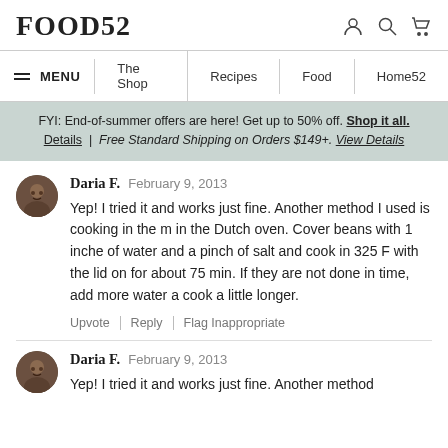FOOD52
MENU  The Shop  Recipes  Food  Home52
FYI: End-of-summer offers are here! Get up to 50% off. Shop it all. Details | Free Standard Shipping on Orders $149+. View Details
Daria F.  February 9, 2013
Yep! I tried it and works just fine. Another method I used is cooking in the m in the Dutch oven. Cover beans with 1 inche of water and a pinch of salt and cook in 325 F with the lid on for about 75 min. If they are not done in time, add more water a cook a little longer.
Upvote | Reply | Flag Inappropriate
Daria F.  February 9, 2013
Yep! I tried it and works just fine. Another method...